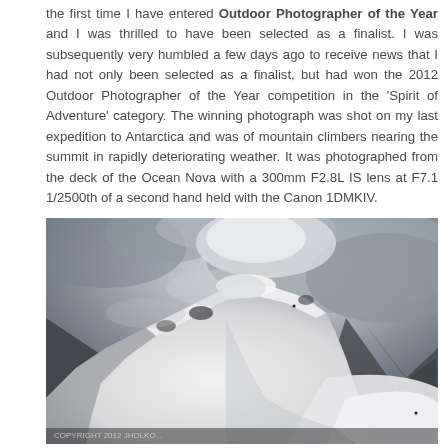the first time I have entered Outdoor Photographer of the Year and I was thrilled to have been selected as a finalist. I was subsequently very humbled a few days ago to receive news that I had not only been selected as a finalist, but had won the 2012 Outdoor Photographer of the Year competition in the 'Spirit of Adventure' category. The winning photograph was shot on my last expedition to Antarctica and was of mountain climbers nearing the summit in rapidly deteriorating weather. It was photographed from the deck of the Ocean Nova with a 300mm F2.8L IS lens at F7.1 1/2500th of a second hand held with the Canon 1DMKIV.
[Figure (photo): A dramatic black and white photograph of a snow-covered mountain summit with mountain climbers visible as tiny figures near the peak. The mountain ridge rises steeply with exposed dark rock faces. Swirling grey clouds fill the background sky. A copyright watermark reads 'COPYRIGHT 2012 JHOLKO...' in the lower left corner.]